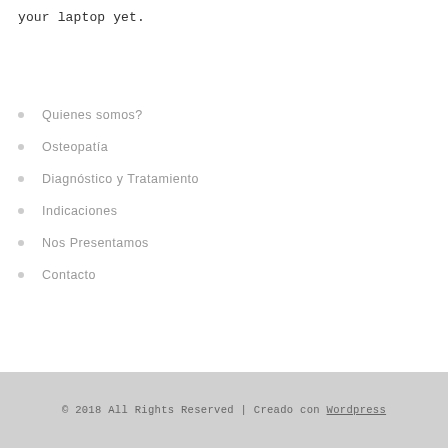your laptop yet.
Quienes somos?
Osteopatía
Diagnóstico y Tratamiento
Indicaciones
Nos Presentamos
Contacto
© 2018 All Rights Reserved | Creado con Wordpress